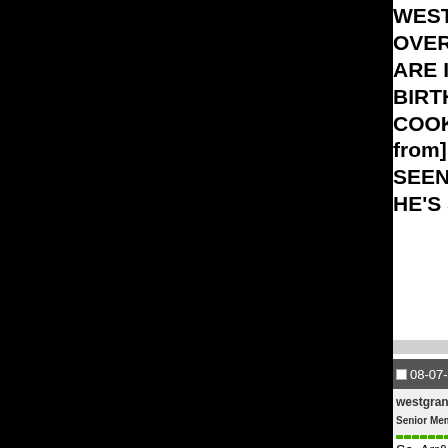WEST,I HAVE IT ON GOOD KNOWLEDGE OVER HERE DOWN IN DA HOOD,GR ARE INVITED..[COCONUT CAKE FO BIRTHDAYS HE REMEMBERED THA COOKING UP A BATCH OF HIS SPEC from]BUT WORD HAS IT THAT HE IN SEEN EM SINCE,ANYHOW THE DAN HE'S STILL LOOKING FOR YOU AND
08-07-2015, 06:59 PM
westgrandboulevard
Senior Member
So, Arr&bee, some [[only some?) of the arrange an introduction, so I can learn while my back was turned....and I thou

Happy Birthday, August 7th, to :

George Bohanon [[often spelled Bo
Detroit born jazz trombonist and sessi